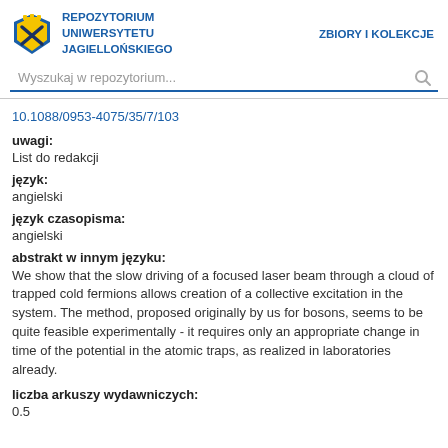[Figure (logo): Jagiellonian University crest logo - blue and yellow shield with crossed tools]
REPOZYTORIUM UNIWERSYTETU JAGIELLOŃSKIEGO
ZBIORY I KOLEKCJE
Wyszukaj w repozytorium...
10.1088/0953-4075/35/7/103
uwagi:
List do redakcji
język:
angielski
język czasopisma:
angielski
abstrakt w innym języku:
We show that the slow driving of a focused laser beam through a cloud of trapped cold fermions allows creation of a collective excitation in the system. The method, proposed originally by us for bosons, seems to be quite feasible experimentally - it requires only an appropriate change in time of the potential in the atomic traps, as realized in laboratories already.
liczba arkuszy wydawniczych:
0.5